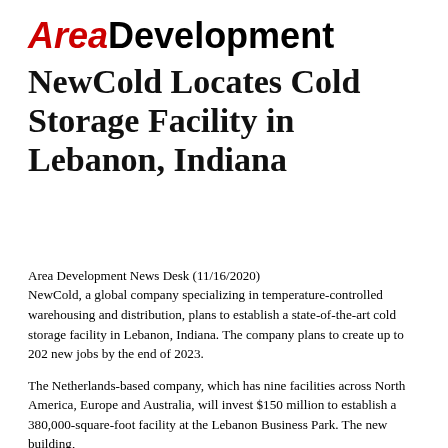AREA DEVELOPMENT
NewCold Locates Cold Storage Facility in Lebanon, Indiana
Area Development News Desk (11/16/2020)
NewCold, a global company specializing in temperature-controlled warehousing and distribution, plans to establish a state-of-the-art cold storage facility in Lebanon, Indiana. The company plans to create up to 202 new jobs by the end of 2023.
The Netherlands-based company, which has nine facilities across North America, Europe and Australia, will invest $150 million to establish a 380,000-square-foot facility at the Lebanon Business Park. The new building,